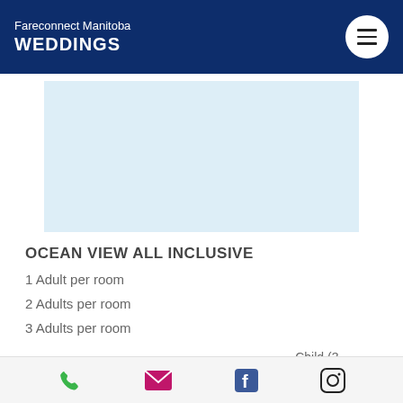Fareconnect Manitoba WEDDINGS
[Figure (photo): Light blue placeholder image area for hotel/resort photo]
OCEAN VIEW ALL INCLUSIVE
1 Adult per room
2 Adults per room
3 Adults per room
| Adult | Child (-2) | Child (3-12) |
| --- | --- | --- |
Phone | Email | Facebook | Instagram